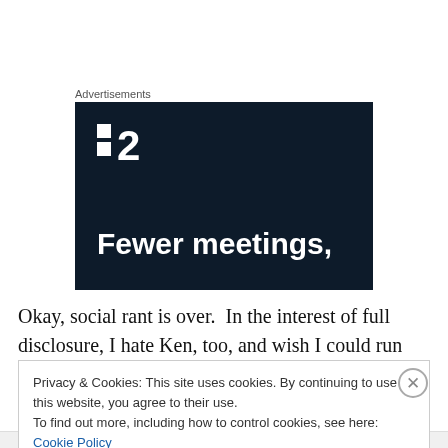Advertisements
[Figure (illustration): Dark navy advertisement banner for a product/service. Shows a logo with two small white squares stacked vertically followed by the number '2', and bold white text reading 'Fewer meetings,']
Okay, social rant is over.  In the interest of full disclosure, I hate Ken, too, and wish I could run off to an island and just
Privacy & Cookies: This site uses cookies. By continuing to use this website, you agree to their use.
To find out more, including how to control cookies, see here: Cookie Policy
Close and accept